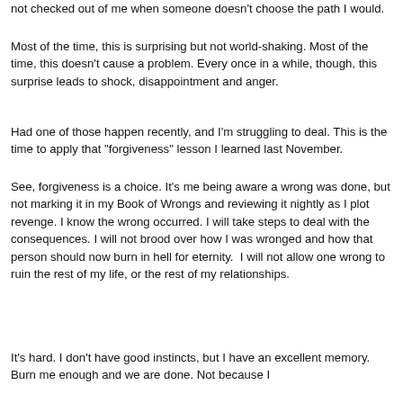not checked out of me when someone doesn't choose the path I would.
Most of the time, this is surprising but not world-shaking. Most of the time, this doesn't cause a problem. Every once in a while, though, this surprise leads to shock, disappointment and anger.
Had one of those happen recently, and I'm struggling to deal. This is the time to apply that "forgiveness" lesson I learned last November.
See, forgiveness is a choice. It's me being aware a wrong was done, but not marking it in my Book of Wrongs and reviewing it nightly as I plot revenge. I know the wrong occurred. I will take steps to deal with the consequences. I will not brood over how I was wronged and how that person should now burn in hell for eternity.  I will not allow one wrong to ruin the rest of my life, or the rest of my relationships.
It's hard. I don't have good instincts, but I have an excellent memory. Burn me enough and we are done. Not because I